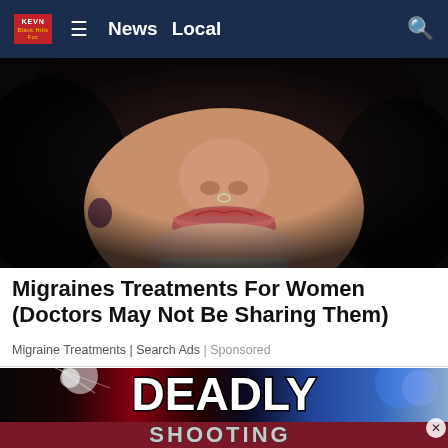KEVN | News | Local
[Figure (photo): Close-up photo of a woman's lower face showing lips, nose ring, and dangling earrings, with dark hair framing the face]
Migraines Treatments For Women (Doctors May Not Be Sharing Them)
Migraine Treatments | Search Ads | Sponsored
[Figure (screenshot): News broadcast graphic with 'DEADLY SHOOTING' text on a dark background with flashing police lights]